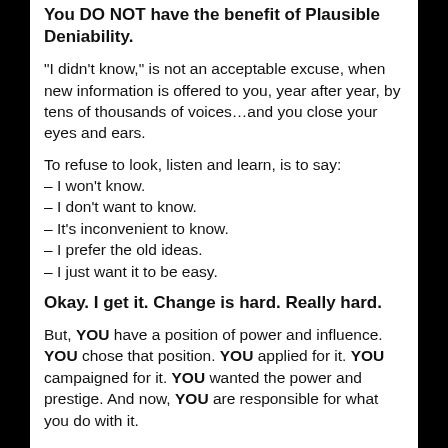You DO NOT have the benefit of Plausible Deniability.
“I didn’t know,” is not an acceptable excuse, when new information is offered to you, year after year, by tens of thousands of voices…and you close your eyes and ears.
To refuse to look, listen and learn, is to say:
– I won’t know.
– I don’t want to know.
– It’s inconvenient to know.
– I prefer the old ideas.
– I just want it to be easy.
Okay. I get it. Change is hard. Really hard.
But, YOU have a position of power and influence. YOU chose that position. YOU applied for it. YOU campaigned for it. YOU wanted the power and prestige. And now, YOU are responsible for what you do with it.